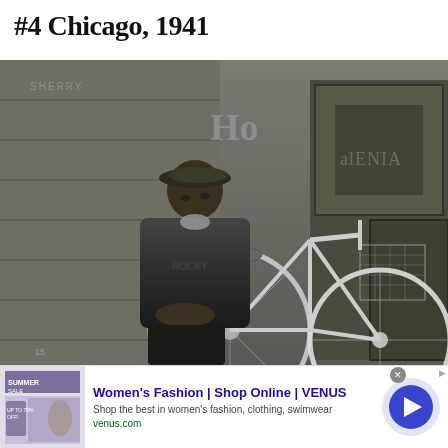#4 Chicago, 1941
[Figure (photo): Black and white photograph from 1941 Chicago. A young Black man wearing a flat cap and jacket sits on a bicycle leaning against a weathered wooden storefront wall. Signs and text are partially visible on the building behind him. A wire basket is attached to the front of the bicycle.]
[Figure (screenshot): Advertisement for VENUS women's fashion. Shows thumbnail of website with summer sale imagery. Text reads: Women's Fashion | Shop Online | VENUS. Shop the best in women's fashion, clothing, swimwear. venus.com. A blue circular button with a right arrow chevron is on the right side. An X close button and an Ad info icon are visible.]